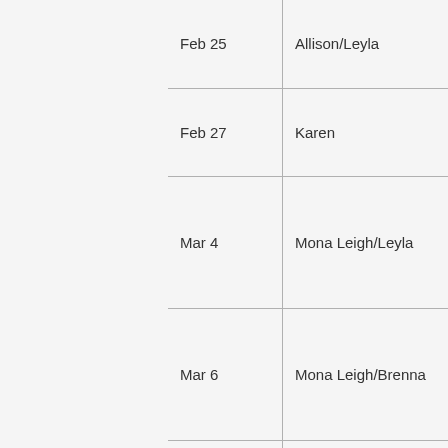| Date | Name |
| --- | --- |
| Feb 25 | Allison/Leyla |
| Feb 27 | Karen |
| Mar 4 | Mona Leigh/Leyla |
| Mar 6 | Mona Leigh/Brenna |
| Mar 11 | Mona Leigh/Leyla |